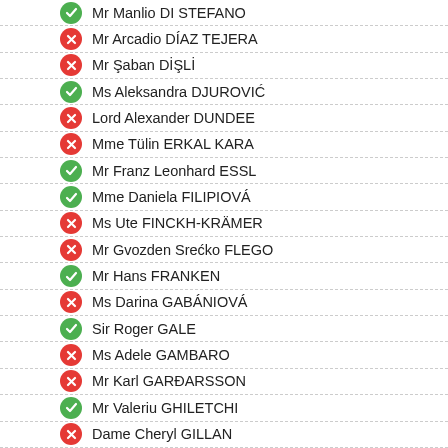Mr Manlio DI STEFANO
Mr Arcadio DÍAZ TEJERA
Mr Şaban DİŞLİ
Ms Aleksandra DJUROVIĆ
Lord Alexander DUNDEE
Mme Tülin ERKAL KARA
Mr Franz Leonhard ESSL
Mme Daniela FILIPIOVÁ
Ms Ute FINCKH-KRÄMER
Mr Gvozden Srećko FLEGO
Mr Hans FRANKEN
Ms Darina GABÁNIOVÁ
Sir Roger GALE
Ms Adele GAMBARO
Mr Karl GARÐARSSON
Mr Valeriu GHILETCHI
Dame Cheryl GILLAN